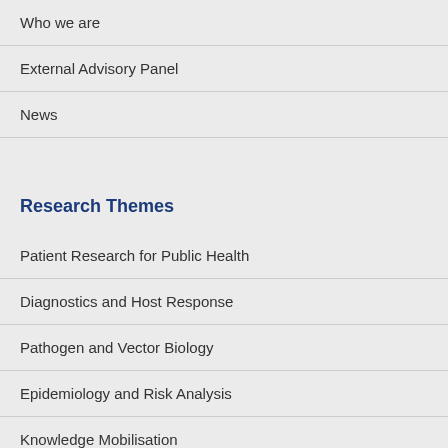Who we are
External Advisory Panel
News
Research Themes
Patient Research for Public Health
Diagnostics and Host Response
Pathogen and Vector Biology
Epidemiology and Risk Analysis
Knowledge Mobilisation